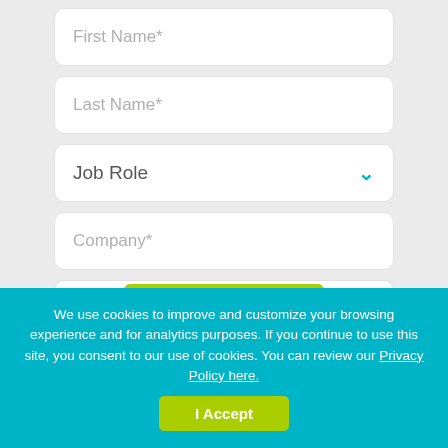First Name*
Last Name*
Job Role
Company*
Business Email Address*
Country*
We use cookies to improve and customize your browsing experience and for analytics purposes. If you continue to use this site, you consent to our use of cookies. You can review our Privacy Policy here.
I Accept